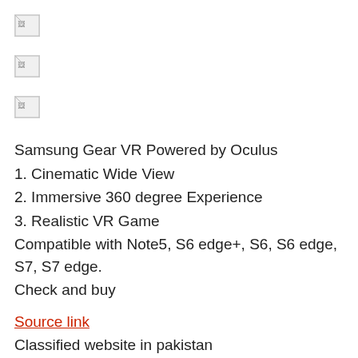[Figure (other): Broken/missing image placeholder 1]
[Figure (other): Broken/missing image placeholder 2]
[Figure (other): Broken/missing image placeholder 3]
Samsung Gear VR Powered by Oculus
1. Cinematic Wide View
2. Immersive 360 degree Experience
3. Realistic VR Game
Compatible with Note5, S6 edge+, S6, S6 edge, S7, S7 edge.
Check and buy
Source link
Classified website in pakistan
Already posted on two website bolee
Home product sale in pakistan